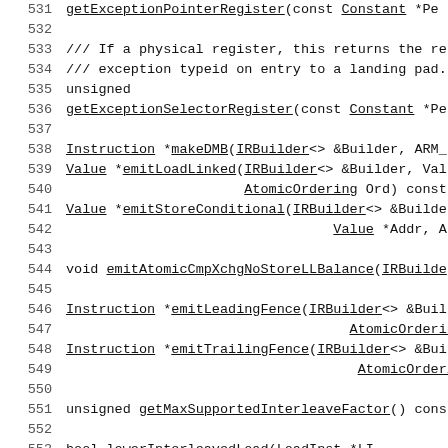531   getExceptionPointerRegister(const Constant *Pe
532
533   /// If a physical register, this returns the re
534   /// exception typeid on entry to a landing pad.
535   unsigned
536   getExceptionSelectorRegister(const Constant *Pe
537
538   Instruction *makeDMB(IRBuilder<> &Builder, ARM_
539   Value *emitLoadLinked(IRBuilder<> &Builder, Val
540                         AtomicOrdering Ord) const
541   Value *emitStoreConditional(IRBuilder<> &Builde
542                                Value *Addr, Atomic
543
544   void emitAtomicCmpXchgNoStoreLLBalance(IRBuilde
545
546   Instruction *emitLeadingFence(IRBuilder<> &Buil
547                                   AtomicOrdering Or
548   Instruction *emitTrailingFence(IRBuilder<> &Bui
549                                    AtomicOrdering O
550
551   unsigned getMaxSupportedInterleaveFactor() cons
552
553   bool lowerInterleavedLoad(LoadInst *LI,
554                              ArrayRef<ShuffleVecto
555                              ArrayRef<unsigned> In
556                              unsigned Factor) cons
557   bool lowerInterleavedStore(StoreInst *SI, Shuff
558                               unsigned Factor) cor
559
560   bool shouldInsertFencesForAtomic(const Instruc